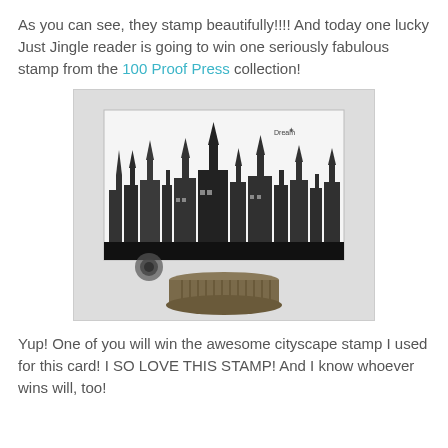As you can see, they stamp beautifully!!!! And today one lucky Just Jingle reader is going to win one seriously fabulous stamp from the 100 Proof Press collection!
[Figure (photo): A greeting card featuring a stamped black and white cityscape with gothic spires and buildings, displayed on a decorative metal pedestal stand. The card has a black base strip and is propped up on a round ornate bronze-colored stand.]
Yup! One of you will win the awesome cityscape stamp I used for this card! I SO LOVE THIS STAMP! And I know whoever wins will, too!